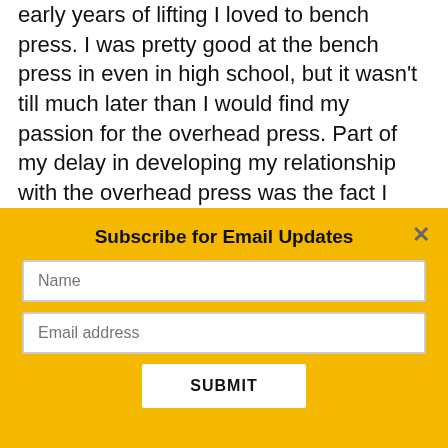early years of lifting I loved to bench press. I was pretty good at the bench press in even in high school, but it wasn't till much later than I would find my passion for the overhead press. Part of my delay in developing my relationship with the overhead press was the fact I came into the fitness industry in the late 90's where pressing overhead was suppose to be TERRIBLE for your shoulders. The philosophy...
Subscribe for Email Updates
Name
Email address
SUBMIT